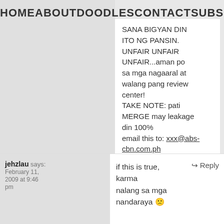HOME   ABOUT   DOODLES   CONTACT   SUBSCRIBE
SANA BIGYAN DIN ITO NG PANSIN. UNFAIR UNFAIR UNFAIR...aman po sa mga nagaaral at walang pang review center!

TAKE NOTE: pati MERGE may leakage din 100%

email this to: xxx@abs-cbn.com.ph
jehzlau says: February 11, 2009 at 9:46 pm
if this is true, karma nalang sa mga nandaraya 😕
↳ Reply